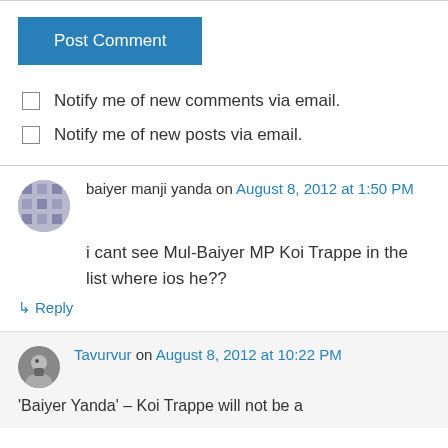Post Comment
Notify me of new comments via email.
Notify me of new posts via email.
baiyer manji yanda on August 8, 2012 at 1:50 PM
i cant see Mul-Baiyer MP Koi Trappe in the list where ios he??
↳ Reply
Tavurvur on August 8, 2012 at 10:22 PM
'Baiyer Yanda' – Koi Trappe will not be a